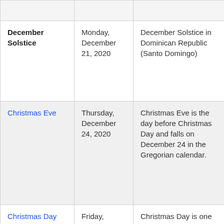| December Solstice | Monday, December 21, 2020 | December Solstice in Dominican Republic (Santo Domingo) |
| Christmas Eve | Thursday, December 24, 2020 | Christmas Eve is the day before Christmas Day and falls on December 24 in the Gregorian calendar. |
| Christmas Day | Friday, December 25, 2020 | Christmas Day is one of the biggest Christian celebrations and falls on December 25 in the Gregorian |